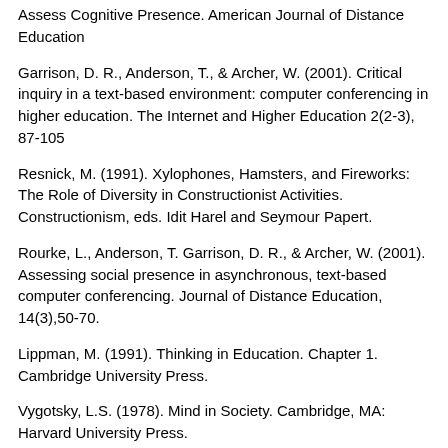Assess Cognitive Presence. American Journal of Distance Education
Garrison, D. R., Anderson, T., & Archer, W. (2001). Critical inquiry in a text-based environment: computer conferencing in higher education. The Internet and Higher Education 2(2-3), 87-105
Resnick, M. (1991). Xylophones, Hamsters, and Fireworks: The Role of Diversity in Constructionist Activities. Constructionism, eds. Idit Harel and Seymour Papert.
Rourke, L., Anderson, T. Garrison, D. R., & Archer, W. (2001). Assessing social presence in asynchronous, text-based computer conferencing. Journal of Distance Education, 14(3),50-70.
Lippman, M. (1991). Thinking in Education. Chapter 1. Cambridge University Press.
Vygotsky, L.S. (1978). Mind in Society. Cambridge, MA: Harvard University Press.